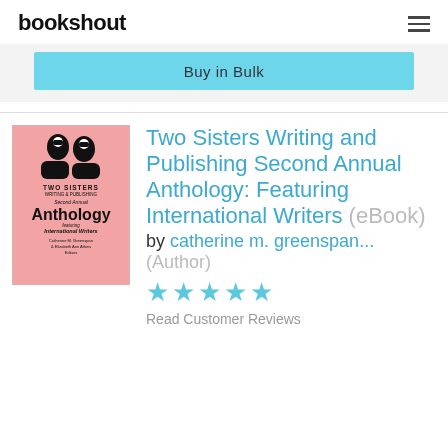bookshout
Buy in Bulk
[Figure (illustration): Book cover for Two Sisters Writing and Publishing Second Annual Anthology, pink background with illustrated silhouettes of two women, text details]
Two Sisters Writing and Publishing Second Annual Anthology: Featuring International Writers (eBook)
by catherine m. greenspan... (Author)
[Figure (other): Five blue star rating icons]
Read Customer Reviews